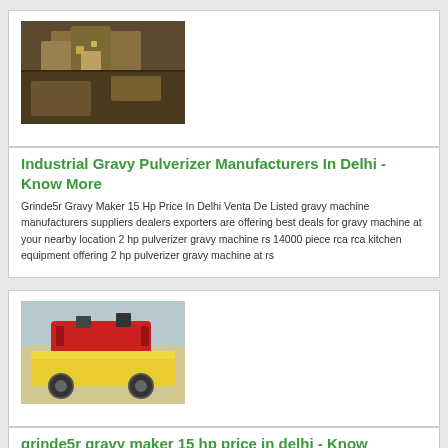[Figure (photo): Photo of an industrial gravy pulverizer machine, yellowish/brown metallic equipment]
Industrial Gravy Pulverizer Manufacturers In Delhi - Know More
Grinde5r Gravy Maker 15 Hp Price In Delhi Venta De Listed gravy machine manufacturers suppliers dealers exporters are offering best deals for gravy machine at your nearby location 2 hp pulverizer gravy machine rs 14000 piece rca rca kitchen equipment offering 2 hp pulverizer gravy machine at rs
[Figure (photo): Photo of a yellow and red industrial crushing/grinding machine on wheels]
grinde5r gravy maker 15 hp price in delhi - Know More